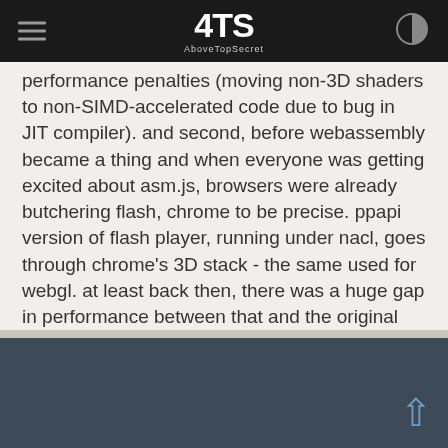ATS AboveTopSecret
performance penalties (moving non-3D shaders to non-SIMD-accelerated code due to bug in JIT compiler). and second, before webassembly became a thing and when everyone was getting excited about asm.js, browsers were already butchering flash, chrome to be precise. ppapi version of flash player, running under nacl, goes through chrome's 3D stack - the same used for webgl. at least back then, there was a huge gap in performance between that and the original flash player, using direct3d directly. long story short, ppapi version of flash player was more or less 50% slower when it comes to 3D content. even if adobe would want to keep flash alive back then, increasing importance of mobile platforms and moving away from conventional browser plugins to heavily sandboxed ones guaranteed it won't be able to keep up performance-wise.
↑